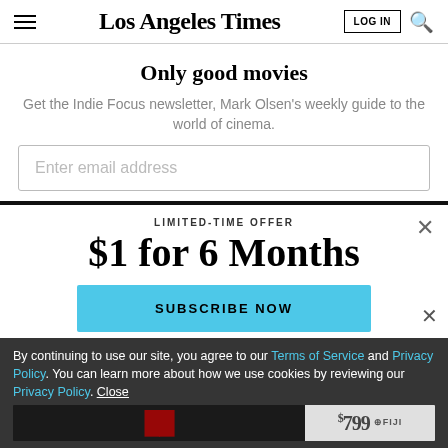Los Angeles Times
Only good movies
Get the Indie Focus newsletter, Mark Olsen's weekly guide to the world of cinema.
Enter email address
LIMITED-TIME OFFER
$1 for 6 Months
SUBSCRIBE NOW
By continuing to use our site, you agree to our Terms of Service and Privacy Policy. You can learn more about how we use cookies by reviewing our Privacy Policy. Close